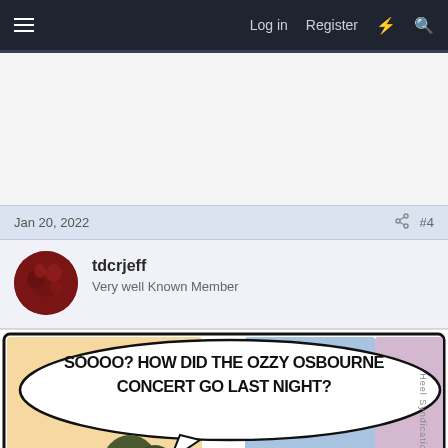Log in   Register
Jan 20, 2022   #4
tdcrjeff
Very well Known Member
[Figure (illustration): Comic strip panel with speech bubble text: 'Soooo? How did the Ozzy Osbourne concert go last night?' showing cartoon characters, with 'Heel Syndication' watermark on right side.]